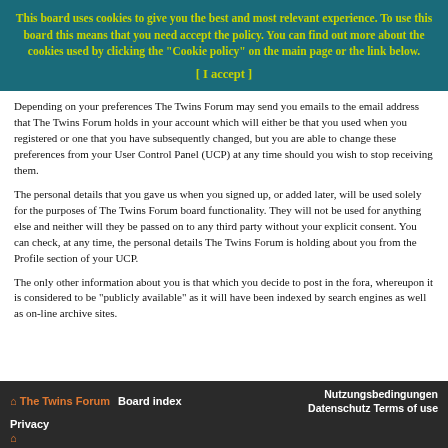This board uses cookies to give you the best and most relevant experience. To use this board this means that you need accept the policy. You can find out more about the cookies used by clicking the "Cookie policy" on the main page or the link below. [ I accept ]
Depending on your preferences The Twins Forum may send you emails to the email address that The Twins Forum holds in your account which will either be that you used when you registered or one that you have subsequently changed, but you are able to change these preferences from your User Control Panel (UCP) at any time should you wish to stop receiving them.
The personal details that you gave us when you signed up, or added later, will be used solely for the purposes of The Twins Forum board functionality. They will not be used for anything else and neither will they be passed on to any third party without your explicit consent. You can check, at any time, the personal details The Twins Forum is holding about you from the Profile section of your UCP.
The only other information about you is that which you decide to post in the fora, whereupon it is considered to be "publicly available" as it will have been indexed by search engines as well as on-line archive sites.
The Twins Forum   Board index   Nutzungsbedingungen   Datenschutz Terms of use   Privacy